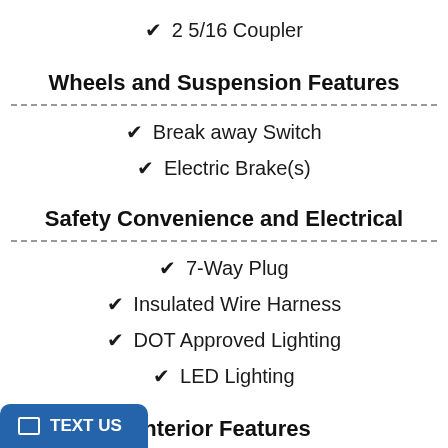✔ 2 5/16 Coupler
Wheels and Suspension Features
✔ Break away Switch
✔ Electric Brake(s)
Safety Convenience and Electrical
✔ 7-Way Plug
✔ Insulated Wire Harness
✔ DOT Approved Lighting
✔ LED Lighting
Interior Features
✔ Lights